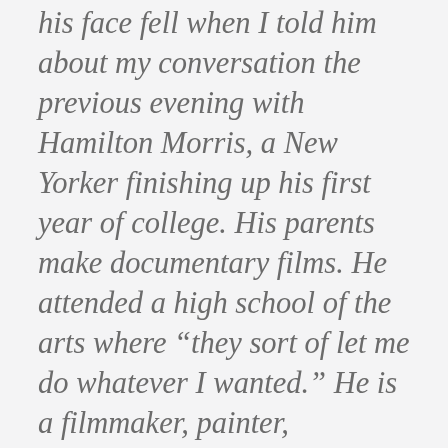his face fell when I told him about my conversation the previous evening with Hamilton Morris, a New Yorker finishing up his first year of college. His parents make documentary films. He attended a high school of the arts where “they sort of let me do whatever I wanted.” He is a filmmaker, painter, photographer, an experienced professional standup comedian. His life pre-college was exceptionally fulfilling, and he expected it to remain so here at